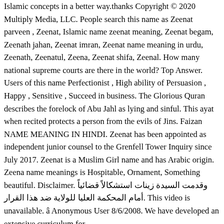Islamic concepts in a better way.thanks Copyright © 2020 Multiply Media, LLC. People search this name as Zeenat parveen , Zeenat, Islamic name zeenat meaning, Zeenat begam, Zeenath jahan, Zeenat imran, Zeenat name meaning in urdu, Zeenath, Zeenatul, Zeena, Zeenat shifa, Zeenal. How many national supreme courts are there in the world? Top Answer. Users of this name Perfectionist , High ability of Persuasion , Happy , Sensitive , Succeed in business. The Glorious Quran describes the forelock of Abu Jahl as lying and sinful. This ayat when recited protects a person from the evils of Jins. Faizan NAME MEANING IN HINDI. Zeenat has been appointed as independent junior counsel to the Grenfell Tower Inquiry since July 2017. Zeenat is a Muslim Girl name and has Arabic origin. Zeena name meanings is Hospitable, Ornament, Something beautiful. Disclaimer. وقدمت السيدة زينات استشكالاً قضائياً أمام المحكمة العليا للولاية ضد هذا القرار. This video is unavailable. â Anonymous User 8/6/2008. We have developed an extensive curriculum for